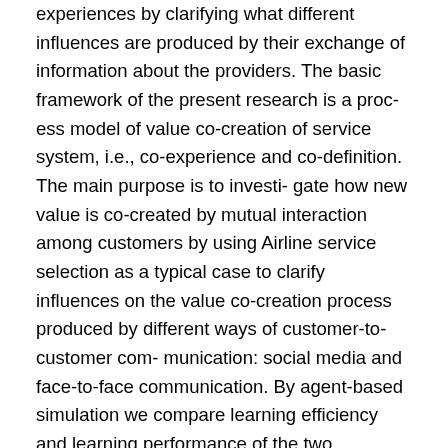experiences by clarifying what different influences are produced by their exchange of information about the providers. The basic framework of the present research is a proc- ess model of value co-creation of service system, i.e., co-experience and co-definition. The main purpose is to investi- gate how new value is co-created by mutual interaction among customers by using Airline service selection as a typical case to clarify influences on the value co-creation process produced by different ways of customer-to-customer com- munication: social media and face-to-face communication. By agent-based simulation we compare learning efficiency and learning performance of the two communication styles of the customers. Learning efficiency is measured by the distance between the average payoff of the customers and that of the provider, while learning performance is measured by the average payoff obtained from Nash Equilibrium by the game played with the provider. The simulation results found that communication style influences the learning efficiency how customers can well and the...